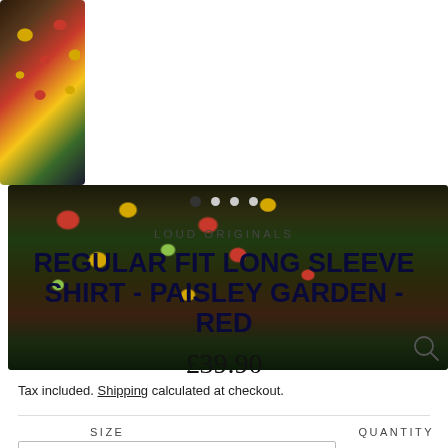[Figure (photo): Product photos of a floral paisley garden shirt in dark background with red and yellow flowers. Thumbnail on left, main image in center.]
LOUD ORIGINALS
REGULAR FIT LONG SLEEVE SHIRT - PAISLEY GARDEN - RED
£39.90
Tax included. Shipping calculated at checkout.
SIZE
QUANTITY
15ll / 38cm / Medium